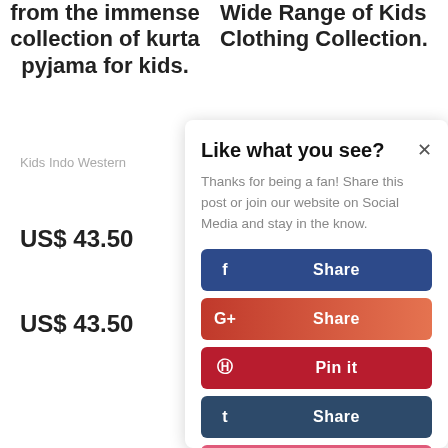from the immense collection of kurta pyjama for kids.
Wide Range of Kids Clothing Collection.
Kids Indo Western
US$ 43.50
US$ 43.50
Like what you see?
Thanks for being a fan! Share this post or join our website on Social Media and stay in the know.
f Share
G+ Share
p Pin it
t Share
Love